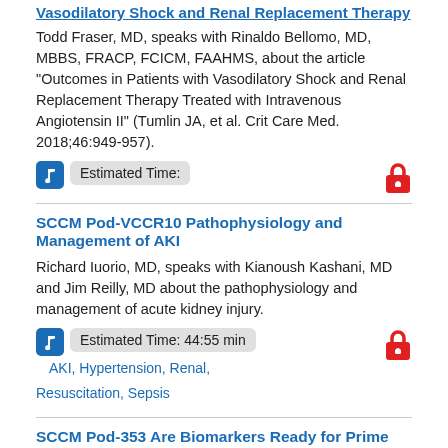Vasodilatory Shock and Renal Replacement Therapy
Todd Fraser, MD, speaks with Rinaldo Bellomo, MD, MBBS, FRACP, FCICM, FAAHMS, about the article "Outcomes in Patients with Vasodilatory Shock and Renal Replacement Therapy Treated with Intravenous Angiotensin II" (Tumlin JA, et al. Crit Care Med. 2018;46:949-957).
Estimated Time:
SCCM Pod-VCCR10 Pathophysiology and Management of AKI
Richard Iuorio, MD, speaks with Kianoush Kashani, MD and Jim Reilly, MD about the pathophysiology and management of acute kidney injury.
Estimated Time: 44:55 min  AKI, Hypertension, Renal, Resuscitation, Sepsis
SCCM Pod-353 Are Biomarkers Ready for Prime Time?
Kyle Enfield, MD, speaks with John A. Kellum, MD, MCCM, about his talk presented at the 46th Critical Care Congress in Honolulu, Hawaii entitled, “Are Biomarkers Ready for Prime Time?"